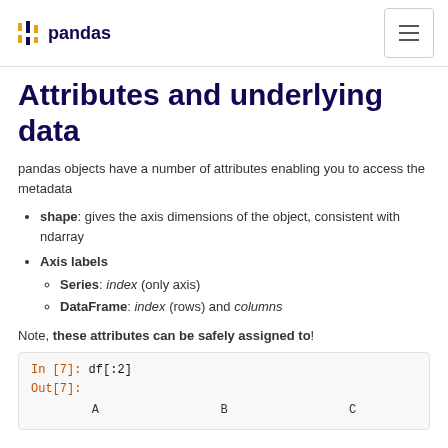pandas
Attributes and underlying data
pandas objects have a number of attributes enabling you to access the metadata
shape: gives the axis dimensions of the object, consistent with ndarray
Axis labels
Series: index (only axis)
DataFrame: index (rows) and columns
Note, these attributes can be safely assigned to!
[Figure (screenshot): Code block showing: In [7]: df[:2] / Out[7]: with column headers A, B, C]